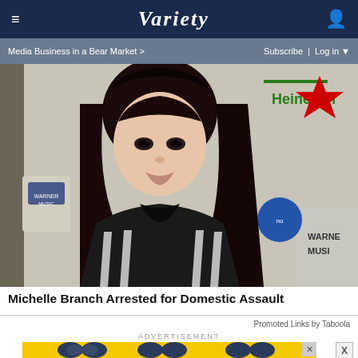≡  VARIETY  👤
Media Business in a Bear Market >   Subscribe | Log in ▼
[Figure (photo): Woman with long dark hair wearing a black and white striped jacket at a Warner Music / Heineken event]
Michelle Branch Arrested for Domestic Assault
Promoted Links by Taboola
ADVERTISEMENT
[Figure (screenshot): Advertisement banner: SPY-TESTED MASSAGE GUN NOW JUST $79 with SPY logo, showing binoculars on yellow background]